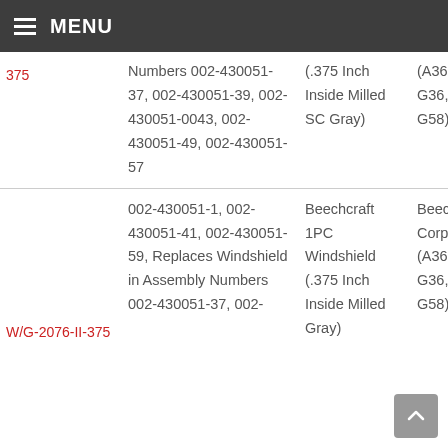MENU
| Part Number | Description | Application | Manufacturer |
| --- | --- | --- | --- |
| 375 | Numbers 002-430051-37, 002-430051-39, 002-430051-0043, 002-430051-49, 002-430051-57 | (.375 Inch Inside Milled SC Gray) | (A36, B... G36, 58 G58) |
|  | 002-430051-1, 002-430051-41, 002-430051-59, Replaces Windshield in Assembly Numbers 002-430051-37, 002-... | Beechcraft 1PC Windshield (.375 Inch Inside Milled Gray) | Beecho... Corpora... (A36, B... G36, 58 G58) |
| W/G-2076-II-375 |  |  |  |